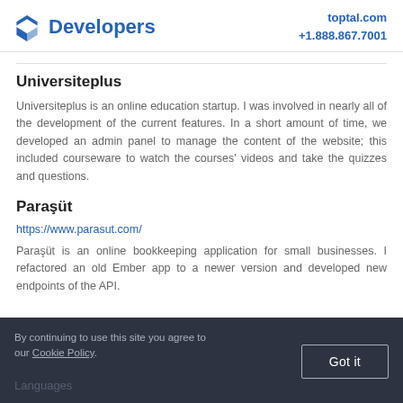Developers | toptal.com +1.888.867.7001
Universiteplus
Universiteplus is an online education startup. I was involved in nearly all of the development of the current features. In a short amount of time, we developed an admin panel to manage the content of the website; this included courseware to watch the courses' videos and take the quizzes and questions.
Paraşüt
https://www.parasut.com/
Paraşüt is an online bookkeeping application for small businesses. I refactored an old Ember app to a newer version and developed new endpoints of the API.
By continuing to use this site you agree to our Cookie Policy. Got it Languages